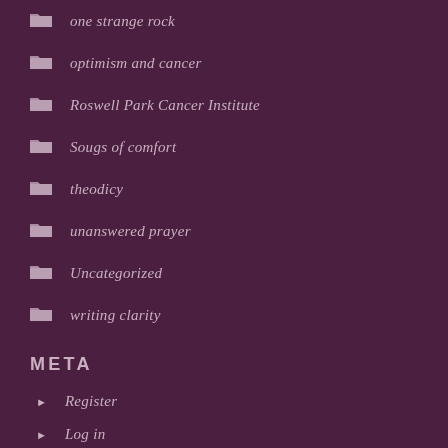one strange rock
optimism and cancer
Roswell Park Cancer Institute
Sougs of comfort
theodicy
unanswered prayer
Uncategorized
writing clarity
META
Register
Log in
Entries feed
Comments feed